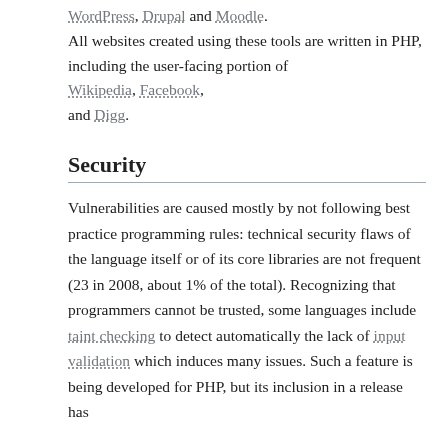WordPress, Drupal and Moodle. All websites created using these tools are written in PHP, including the user-facing portion of Wikipedia, Facebook, and Digg.
Security
Vulnerabilities are caused mostly by not following best practice programming rules: technical security flaws of the language itself or of its core libraries are not frequent (23 in 2008, about 1% of the total). Recognizing that programmers cannot be trusted, some languages include taint checking to detect automatically the lack of input validation which induces many issues. Such a feature is being developed for PHP, but its inclusion in a release has